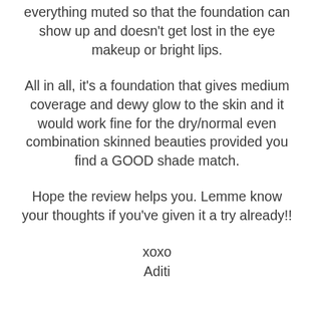everything muted so that the foundation can show up and doesn't get lost in the eye makeup or bright lips.
All in all, it's a foundation that gives medium coverage and dewy glow to the skin and it would work fine for the dry/normal even combination skinned beauties provided you find a GOOD shade match.
Hope the review helps you. Lemme know your thoughts if you've given it a try already!!
xoxo
Aditi